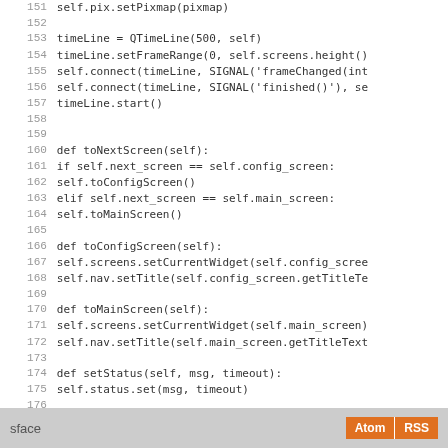[Figure (screenshot): Source code listing showing Python methods: lines 151-179 including toNextScreen, toConfigScreen, toMainScreen, setStatus, and nodeSelectionChanged methods]
sface  Atom  RSS